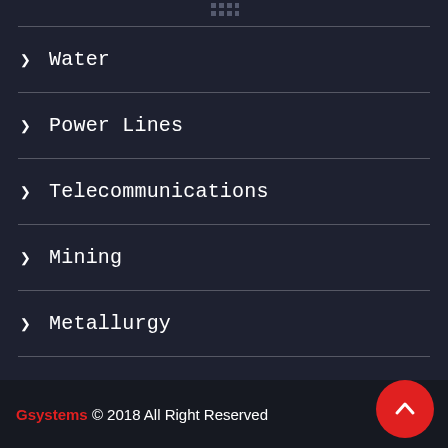Water
Power Lines
Telecommunications
Mining
Metallurgy
Gsystems © 2018 All Right Reserved